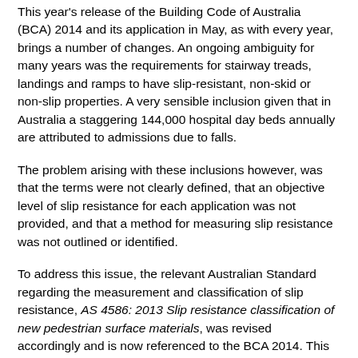This year's release of the Building Code of Australia (BCA) 2014 and its application in May, as with every year, brings a number of changes. An ongoing ambiguity for many years was the requirements for stairway treads, landings and ramps to have slip-resistant, non-skid or non-slip properties. A very sensible inclusion given that in Australia a staggering 144,000 hospital day beds annually are attributed to admissions due to falls.
The problem arising with these inclusions however, was that the terms were not clearly defined, that an objective level of slip resistance for each application was not provided, and that a method for measuring slip resistance was not outlined or identified.
To address this issue, the relevant Australian Standard regarding the measurement and classification of slip resistance, AS 4586: 2013 Slip resistance classification of new pedestrian surface materials, was revised accordingly and is now referenced to the BCA 2014. This standard sets out suitable testing methods as well as the resulting classifications for each of the test methods.
Test methods included in the standard allow for both wet and dry